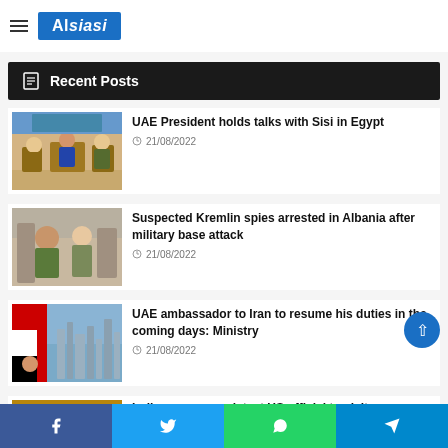Alsiasi
Recent Posts
UAE President holds talks with Sisi in Egypt — 21/08/2022
Suspected Kremlin spies arrested in Albania after military base attack — 21/08/2022
UAE ambassador to Iran to resume his duties in the coming days: Ministry — 21/08/2022
Indiana governor latest US official to visit...
Facebook | Twitter | WhatsApp | Telegram